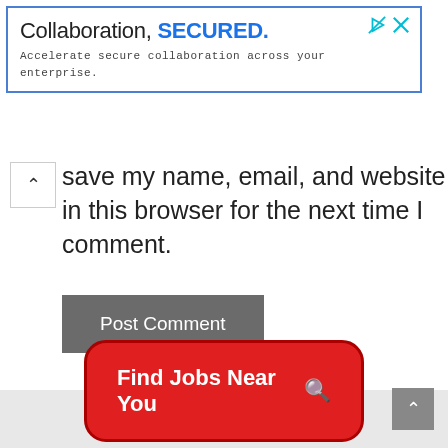[Figure (screenshot): Advertisement banner with blue border: 'Collaboration, SECURED.' with subtext 'Accelerate secure collaboration across your enterprise.']
Save my name, email, and website in this browser for the next time I comment.
Post Comment
Find Jobs Near You 🔍